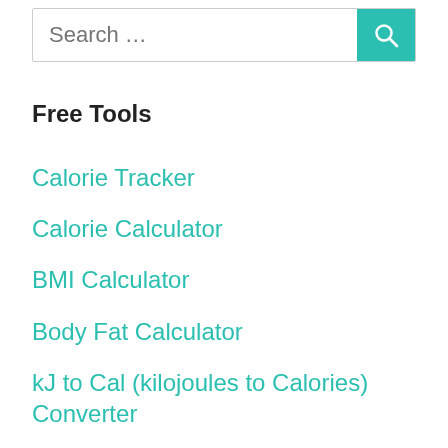[Figure (screenshot): Search input field with placeholder text 'Search ...' and a teal search button with magnifying glass icon]
Free Tools
Calorie Tracker
Calorie Calculator
BMI Calculator
Body Fat Calculator
kJ to Cal (kilojoules to Calories) Converter
Calorie Deficit Calculator (To Lose Weight)